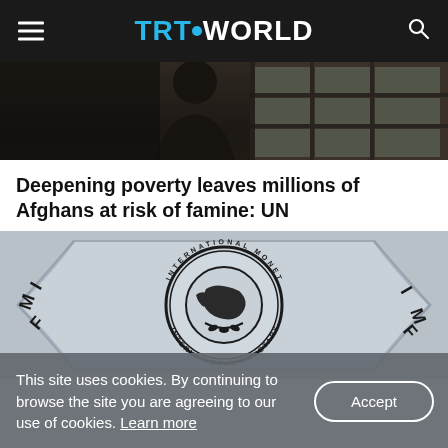TRT WORLD
[Figure (photo): Silhouette of a person looking out of a barred window, dark moody interior]
Deepening poverty leaves millions of Afghans at risk of famine: UN
[Figure (photo): Close-up photo of the International Monetary Fund (IMF) logo/seal plaque, metallic embossed with globe and olive branch]
This site uses cookies. By continuing to browse the site you are agreeing to our use of cookies. Learn more